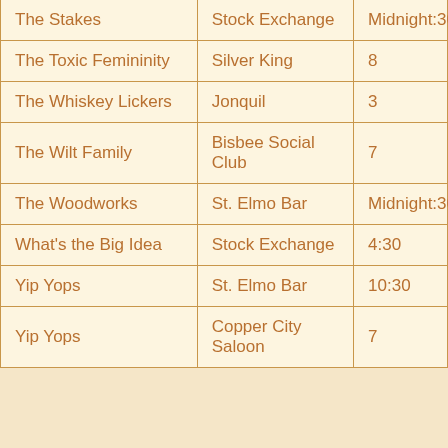| Band/Artist | Venue | Time |
| --- | --- | --- |
| The Stakes | Stock Exchange | Midnight:30 |
| The Toxic Femininity | Silver King | 8 |
| The Whiskey Lickers | Jonquil | 3 |
| The Wilt Family | Bisbee Social Club | 7 |
| The Woodworks | St. Elmo Bar | Midnight:30 |
| What's the Big Idea | Stock Exchange | 4:30 |
| Yip Yops | St. Elmo Bar | 10:30 |
| Yip Yops | Copper City Saloon | 7 |